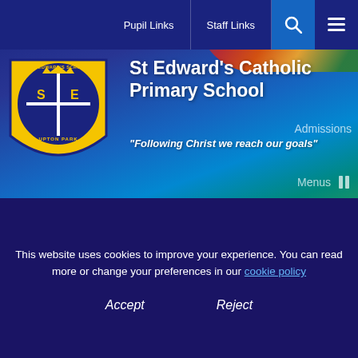Pupil Links | Staff Links
St Edward's Catholic Primary School
"Following Christ we reach our goals"
Admissions
Menus
Newsletters
Our Lady Of Grace Catholic Academy Trust
This website uses cookies to improve your experience. You can read more or change your preferences in our cookie policy
Accept
Reject